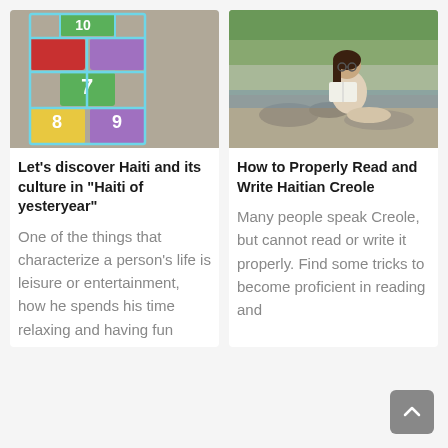[Figure (photo): Colorful hopscotch grid drawn on pavement with chalk, showing numbered squares in green, red, yellow, purple colors]
[Figure (photo): Young woman with glasses sitting by a river, reading a book outdoors]
Let’s discover Haiti and its culture in “Haiti of yesteryear”
How to Properly Read and Write Haitian Creole
One of the things that characterize a person’s life is leisure or entertainment, how he spends his time relaxing and having fun
Many people speak Creole, but cannot read or write it properly. Find some tricks to become proficient in reading and